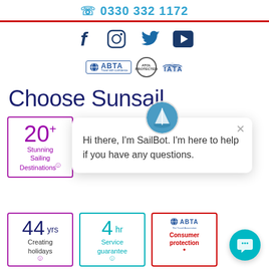📞 0330 332 1172
[Figure (illustration): Social media icons: Facebook, Instagram, Twitter, YouTube]
[Figure (logo): ABTA, ATOL, and IATA accreditation logos]
Choose Sunsail
20+ Stunning Sailing Destinations
[Figure (screenshot): SailBot chat overlay: Hi there, I'm SailBot. I'm here to help if you have any questions.]
44 yrs Creating holidays
4 hr Service guarantee
ABTA Consumer protection